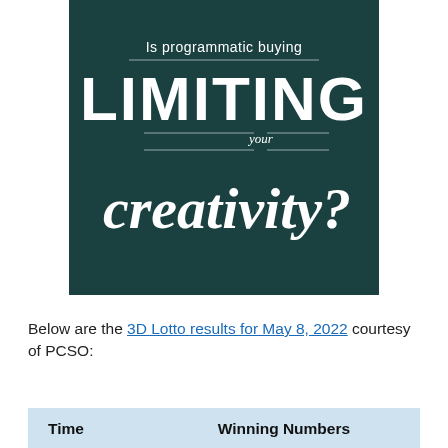[Figure (illustration): Dark teal/green advertisement banner with text: 'Is programmatic buying LIMITING your creativity?' The word LIMITING is large bold white uppercase sans-serif, 'your' is small italic between horizontal rules, and 'creativity?' is large white cursive script.]
Below are the 3D Lotto results for May 8, 2022 courtesy of PCSO:
| Time | Winning Numbers |
| --- | --- |